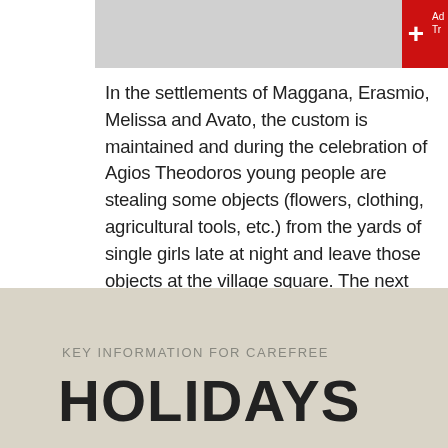[Figure (photo): Partially visible image at the top of the page, gray placeholder area with a red plus icon badge in the top-right corner]
In the settlements of Maggana, Erasmio, Melissa and Avato, the custom is maintained and during the celebration of Agios Theodoros young people are stealing some objects (flowers, clothing, agricultural tools, etc.) from the yards of single girls late at night and leave those objects at the village square. The next morning the girls go to the square to get their "stolen" items back....
Read More
KEY INFORMATION FOR CAREFREE
HOLIDAYS